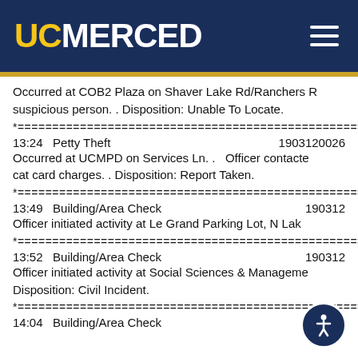UC MERCED
Occurred at COB2 Plaza on Shaver Lake Rd/Ranchers R... suspicious person. . Disposition: Unable To Locate.
*==============================================
13:24   Petty Theft                                  1903120026
Occurred at UCMPD on Services Ln. .  Officer contacte... cat card charges. . Disposition: Report Taken.
*==============================================
13:49   Building/Area Check                          190312
Officer initiated activity at Le Grand Parking Lot, N Lake...
*==============================================
13:52   Building/Area Check                          190312
Officer initiated activity at Social Sciences & Manageme... Disposition: Civil Incident.
*==============================================
14:04   Building/Area Check                          190312